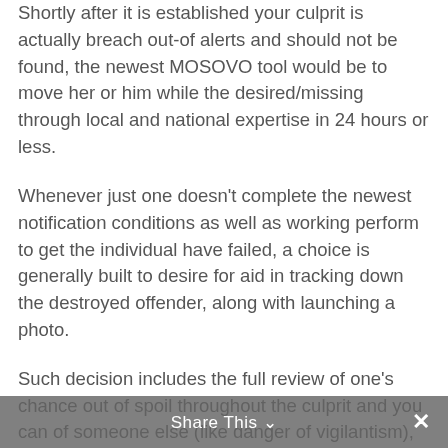Shortly after it is established your culprit is actually breach out-of alerts and should not be found, the newest MOSOVO tool would be to move her or him while the desired/missing through local and national expertise in 24 hours or less.
Whenever just one doesn't complete the newest notification conditions as well as working perform to get the individual have failed, a choice is generally built to desire for aid in tracking down the destroyed offender, along with launching a photo.
Such decision includes the full review of one's chance out of spoil throughout the culprit and you can of someone else (like danger of vigilantism), therefore the likelihood of episodes towards the culprit otherwise their loved ones, otherwise anybody which have a comparable term or physical appearance due to the fact offender. Employees is to get in touch with the latest force force place of work and relate to
Share This ∨  ✕